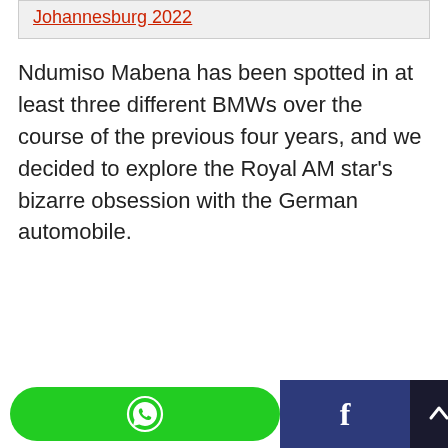Johannesburg 2022
Ndumiso Mabena has been spotted in at least three different BMWs over the course of the previous four years, and we decided to explore the Royal AM star's bizarre obsession with the German automobile.
[Figure (other): WhatsApp share button (green rounded rectangle with WhatsApp logo)]
[Figure (other): Facebook share button (dark blue rectangle with letter f)]
[Figure (other): Scroll-to-top button (dark rectangle with upward arrow)]